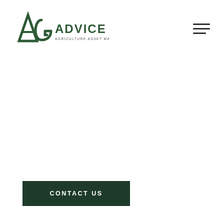[Figure (logo): AG Advice Agriculture Asset Management logo — stylized AG letters in dark green with ADVICE text and tagline AGRICULTURE ASSET MANAGEMENT]
CONTACT US